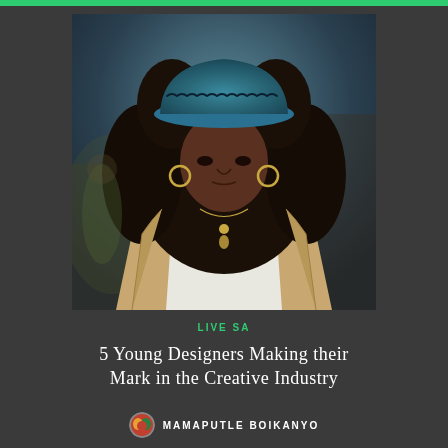[Figure (photo): Portrait photo of a young Black woman wearing a teal/blue bucket hat and a beige trench coat over a white top, with long curly hair and gold hoop earrings and a gold necklace, looking directly at the camera against a blurred urban background]
LIVE SA
5 Young Designers Making their Mark in the Creative Industry
MAMAPUTLE BOIKANYO